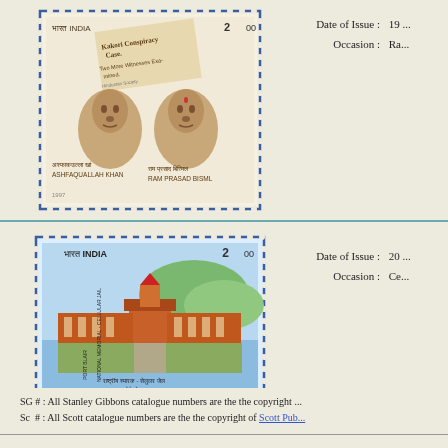[Figure (illustration): Indian postage stamp, 2 rupee, showing portraits of Ashfaquallah Khan and Ram Prasad Bisml with newspaper 'Kakori Conspiracy Case' headline, 1997]
Date of Issue : 19 ...
Occasion : Ra...
[Figure (illustration): Indian postage stamp, 2 rupee, National Memorial - Cellular Jail, Port Blair, showing aerial view of prison building, 1997]
Date of Issue : 20 ...
Occasion : Ce...
SG # : All Stanley Gibbons catalogue numbers are the the copyright ...
Sc  # : All Scott catalogue numbers are the the copyright of Scott Pub...